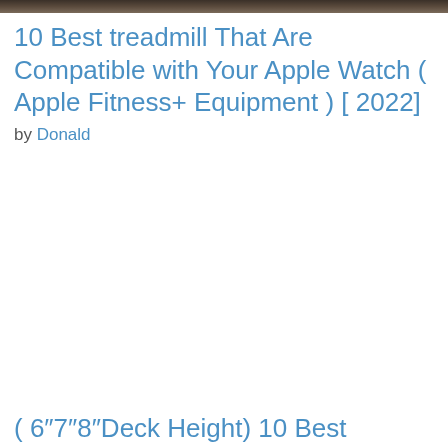[Figure (photo): Partial photo of a treadmill or gym equipment, cropped at top]
10 Best treadmill That Are Compatible with Your Apple Watch ( Apple Fitness+ Equipment ) [ 2022]
by Donald
( 6″7″8″Deck Height) 10 Best